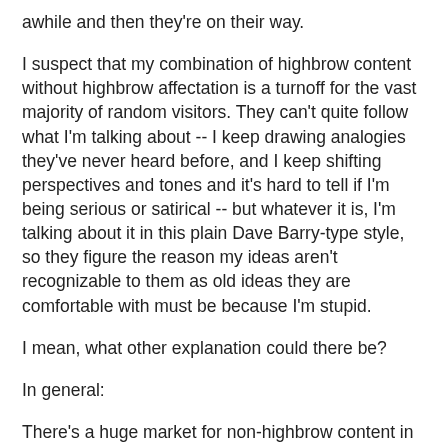awhile and then they're on their way.
I suspect that my combination of highbrow content without highbrow affectation is a turnoff for the vast majority of random visitors. They can't quite follow what I'm talking about -- I keep drawing analogies they've never heard before, and I keep shifting perspectives and tones and it's hard to tell if I'm being serious or satirical -- but whatever it is, I'm talking about it in this plain Dave Barry-type style, so they figure the reason my ideas aren't recognizable to them as old ideas they are comfortable with must be because I'm stupid.
I mean, what other explanation could there be?
In general:
There's a huge market for non-highbrow content in a non-highbrow style.
There's a large market for non-highbrow content in a highbrow style.
There's a small market for highbrow content in a highbrow